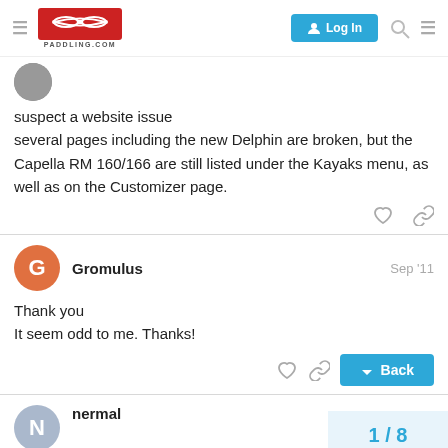Paddling.com — Log In
suspect a website issue
several pages including the new Delphin are broken, but the Capella RM 160/166 are still listed under the Kayaks menu, as well as on the Customizer page.
Gromulus  Sep '11
Thank you
It seem odd to me. Thanks!
nermal
1/8